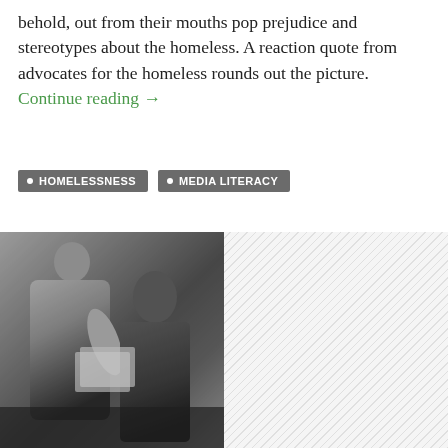behold, out from their mouths pop prejudice and stereotypes about the homeless. A reaction quote from advocates for the homeless rounds out the picture. Continue reading →
HOMELESSNESS
MEDIA LITERACY
[Figure (photo): Black and white photo of two people, one standing and one seated, appearing to exchange or review documents or papers.]